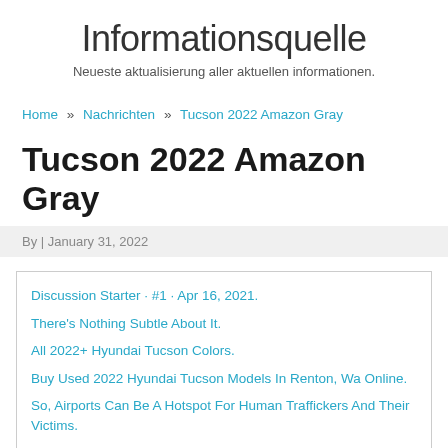Informationsquelle
Neueste aktualisierung aller aktuellen informationen.
Home » Nachrichten » Tucson 2022 Amazon Gray
Tucson 2022 Amazon Gray
By | January 31, 2022
Discussion Starter · #1 · Apr 16, 2021.
There's Nothing Subtle About It.
All 2022+ Hyundai Tucson Colors.
Buy Used 2022 Hyundai Tucson Models In Renton, Wa Online.
So, Airports Can Be A Hotspot For Human Traffickers And Their Victims.